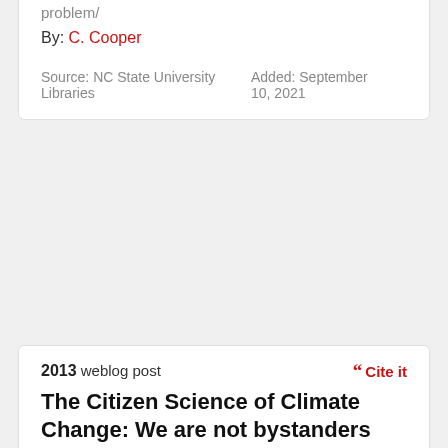problem/
By: C. Cooper
Source: NC State University Libraries    Added: September 10, 2021
2013 weblog post
Cite it
The Citizen Science of Climate Change: We are not bystanders
Cooper, C. B. (2013, January 22). Retrieved from Scientific American website: https://blogs.scientificamerican.com/guest-blog/the-citizen-science-of-climate-